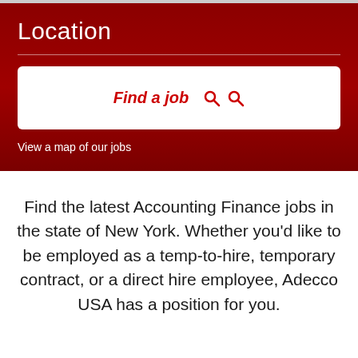Location
[Figure (screenshot): Search box UI with 'Find a job' text link and two search icons on white background]
View a map of our jobs
Find the latest Accounting Finance jobs in the state of New York. Whether you'd like to be employed as a temp-to-hire, temporary contract, or a direct hire employee, Adecco USA has a position for you.